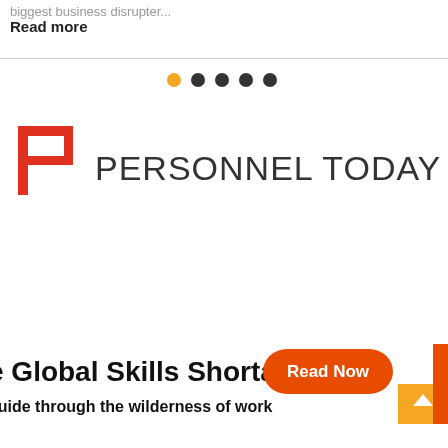biggest business disrupter...
Read more
[Figure (other): Pagination dots: five circles, first one orange, rest dark grey]
[Figure (logo): Personnel Today Jobs logo - stylized letter P in orange/red square bracket style, with text PERSONNEL TODAY JOBS in dark grey]
e Global Skills Shortage
guide through the wilderness of work
[Figure (other): Read Now button in orange, and partial orange graphic element on right side]